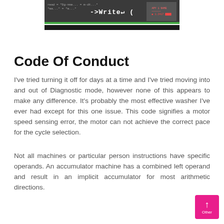[Figure (screenshot): Screenshot of a code editor or terminal showing text '->Write← (' in bold white on dark background with code snippets visible]
Code Of Conduct
I've tried turning it off for days at a time and I've tried moving into and out of Diagnostic mode, however none of this appears to make any difference. It's probably the most effective washer I've ever had except for this one issue. This code signifies a motor speed sensing error, the motor can not achieve the correct pace for the cycle selection.
Not all machines or particular person instructions have specific operands. An accumulator machine has a combined left operand and result in an implicit accumulator for most arithmetic directions.